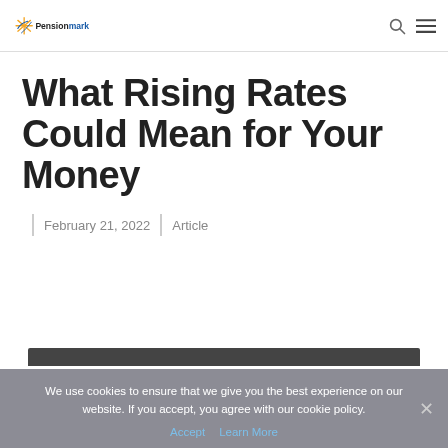Pensionmark
What Rising Rates Could Mean for Your Money
February 21, 2022 | Article
We use cookies to ensure that we give you the best experience on our website. If you accept, you agree with our cookie policy.
Accept | Learn More